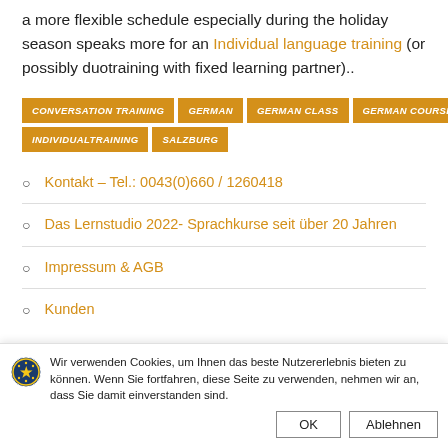a more flexible schedule especially during the holiday season speaks more for an Individual language training (or possibly duotraining with fixed learning partner)..
CONVERSATION TRAINING
GERMAN
GERMAN CLASS
GERMAN COURSE
INDIVIDUALTRAINING
SALZBURG
Kontakt – Tel.: 0043(0)660 / 1260418
Das Lernstudio 2022- Sprachkurse seit über 20 Jahren
Impressum & AGB
Kunden
Wir verwenden Cookies, um Ihnen das beste Nutzererlebnis bieten zu können. Wenn Sie fortfahren, diese Seite zu verwenden, nehmen wir an, dass Sie damit einverstanden sind.